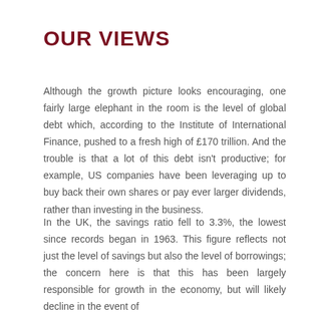OUR VIEWS
Although the growth picture looks encouraging, one fairly large elephant in the room is the level of global debt which, according to the Institute of International Finance, pushed to a fresh high of £170 trillion. And the trouble is that a lot of this debt isn't productive; for example, US companies have been leveraging up to buy back their own shares or pay ever larger dividends, rather than investing in the business.
In the UK, the savings ratio fell to 3.3%, the lowest since records began in 1963. This figure reflects not just the level of savings but also the level of borrowings; the concern here is that this has been largely responsible for growth in the economy, but will likely decline in the event of